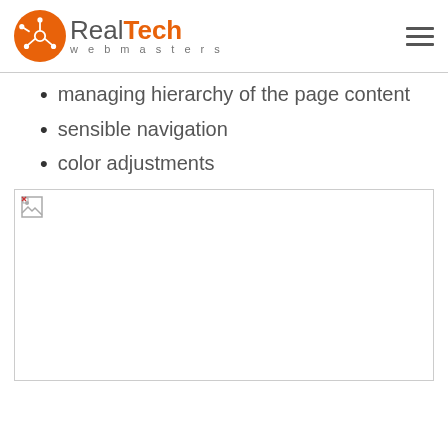RealTech webmasters
managing hierarchy of the page content
sensible navigation
color adjustments
[Figure (photo): Broken image placeholder — white rectangle with a small broken image icon in the top-left corner]